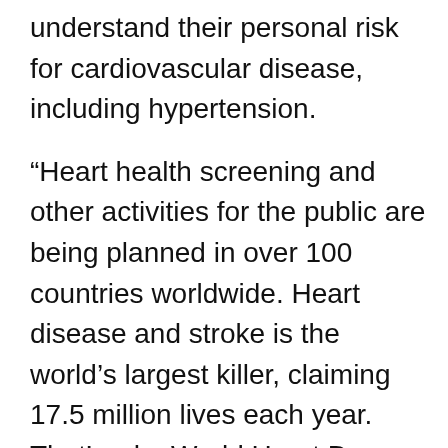understand their personal risk for cardiovascular disease, including hypertension.
“Heart health screening and other activities for the public are being planned in over 100 countries worldwide. Heart disease and stroke is the world’s largest killer, claiming 17.5 million lives each year. That’s why World Heart Day was created, to create public awareness of risk factors for heart disease and stroke and to promote preventive measures.”